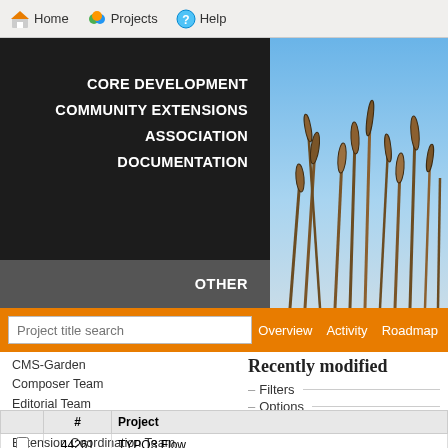Home  Projects  Help
[Figure (screenshot): Hero navigation menu with dark background showing CORE DEVELOPMENT, COMMUNITY EXTENSIONS, ASSOCIATION, DOCUMENTATION in white bold text, and OTHER in a grey band. Right side shows a nature photo of reeds against a blue sky.]
CORE DEVELOPMENT
COMMUNITY EXTENSIONS
ASSOCIATION
DOCUMENTATION
OTHER
Project title search
Overview  Activity  Roadmap
CMS-Garden
Composer Team
Editorial Team
Extension Comparison
Extension Coordination Team
Marketing Team
Sandbox
Screencast Team
Server Team
Translation Team
(archived projects)
Recently modified
– Filters
– Options
Apply  Clear
|  | # | Project |
| --- | --- | --- |
|  | 44261 | TYPO3 Flow |